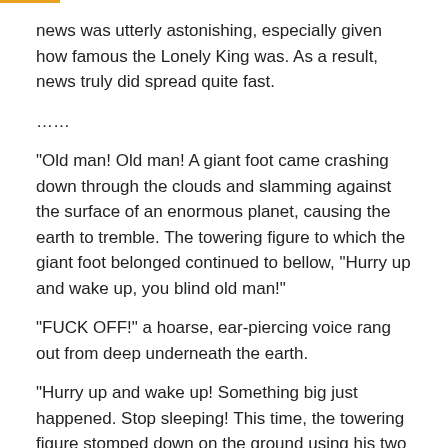news was utterly astonishing, especially given how famous the Lonely King was. As a result, news truly did spread quite fast.
……
“Old man! Old man! A giant foot came crashing down through the clouds and slamming against the surface of an enormous planet, causing the earth to tremble. The towering figure to which the giant foot belonged continued to bellow, “Hurry up and wake up, you blind old man!”
“FUCK OFF!” a hoarse, ear-piercing voice rang out from deep underneath the earth.
“Hurry up and wake up! Something big just happened. Stop sleeping! This time, the towering figure stomped down on the ground using his two bare feet, causing the earth to shudder and shake.